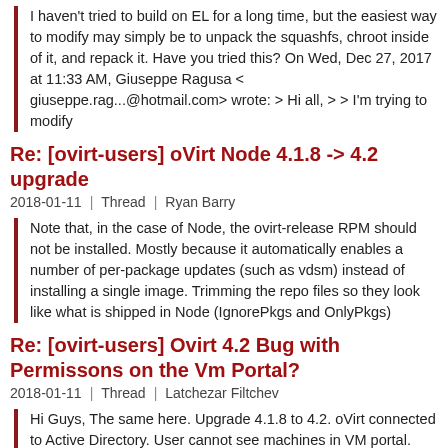I haven't tried to build on EL for a long time, but the easiest way to modify may simply be to unpack the squashfs, chroot inside of it, and repack it. Have you tried this? On Wed, Dec 27, 2017 at 11:33 AM, Giuseppe Ragusa < giuseppe.rag...@hotmail.com> wrote: > Hi all, > > I'm trying to modify
Re: [ovirt-users] oVirt Node 4.1.8 -> 4.2 upgrade
2018-01-11 | Thread | Ryan Barry
Note that, in the case of Node, the ovirt-release RPM should not be installed. Mostly because it automatically enables a number of per-package updates (such as vdsm) instead of installing a single image. Trimming the repo files so they look like what is shipped in Node (IgnorePkgs and OnlyPkgs)
Re: [ovirt-users] Ovirt 4.2 Bug with Permissons on the Vm Portal?
2018-01-11 | Thread | Latchezar Filtchev
Hi Guys, The same here. Upgrade 4.1.8 to 4.2. oVirt connected to Active Directory. User cannot see machines in VM portal. Still playing with permissions. Any ideas? Thank you! Best, Latcho From: users-boun...@ovirt.org [mailtorusers-boun...@ovirt.org] On Behalf Of Thomas Foeke...